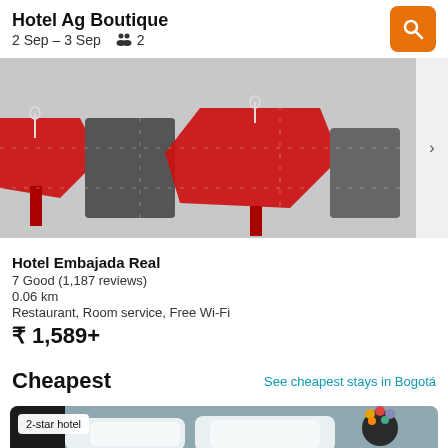Hotel Ag Boutique — 2 Sep – 3 Sep   2
[Figure (photo): Hotel dining area with red octagonal tables and dark chairs, viewed from above]
Hotel Embajada Real
7 Good (1,187 reviews)
0.06 km
Restaurant, Room service, Free Wi-Fi
₹ 1,589+
Cheapest
See cheapest stays in Bogotá
[Figure (photo): Hotel room with white pillows and a person with colorful flowers in their hair in background, badge showing 2-star hotel]